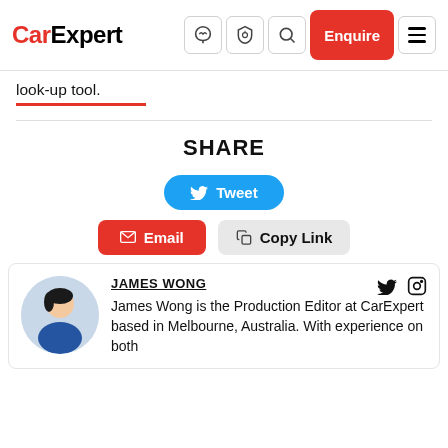CarExpert — navigation header with logo, icons, Enquire button, and hamburger menu
look-up tool.
SHARE
Tweet
Email
Copy Link
JAMES WONG
James Wong is the Production Editor at CarExpert based in Melbourne, Australia. With experience on both